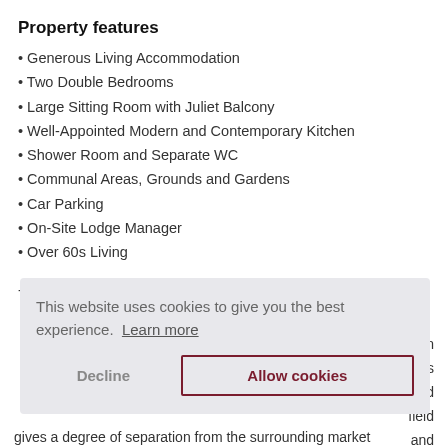Property features
• Generous Living Accommodation
• Two Double Bedrooms
• Large Sitting Room with Juliet Balcony
• Well-Appointed Modern and Contemporary Kitchen
• Shower Room and Separate WC
• Communal Areas, Grounds and Gardens
• Car Parking
• On-Site Lodge Manager
• Over 60s Living
- [partial text hidden by cookie overlay] ...in t...it is s...d [field] g...and gives a degree of separation from the surrounding market
[Figure (screenshot): Cookie consent popup overlay with message 'This website uses cookies to give you the best experience. Learn more' and two buttons: 'Decline' and 'Allow cookies']